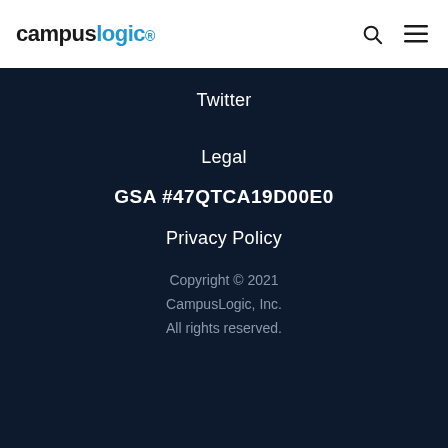[Figure (logo): CampusLogic logo with 'campus' in dark and 'logic' in blue, followed by a registered trademark symbol]
Twitter
Legal
GSA #47QTCA19D00E0
Privacy Policy
Copyright © 2021 CampusLogic, Inc. All rights reserved.